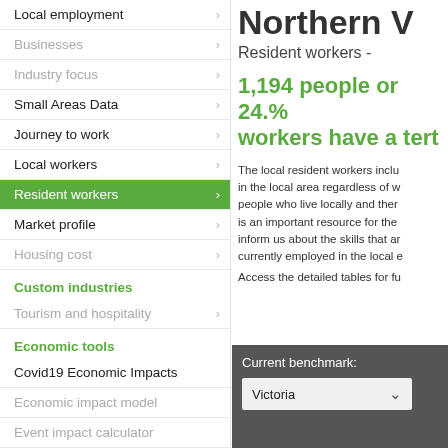Local employment
Businesses
Industry focus
Small Areas Data
Journey to work
Local workers
Resident workers (active)
Market profile
Housing cost
Custom industries
Tourism and hospitality
Economic tools
Covid19 Economic Impacts
Economic impact model
Event impact calculator
Location quotient
Shift-share analysis
Northern V...
Resident workers -
1,194 people or 24.% workers have a tert...
The local resident workers inclu... in the local area regardless of w... people who live locally and ther... is an important resource for the... inform us about the skills that ar... currently employed in the local e...
Access the detailed tables for fu...
Current benchmark: Victoria